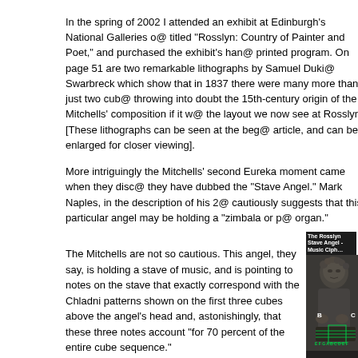In the spring of 2002 I attended an exhibit at Edinburgh's National Galleries of titled "Rosslyn: Country of Painter and Poet," and purchased the exhibit's hand printed program. On page 51 are two remarkable lithographs by Samuel Dukin Swarbreck which show that in 1837 there were many more than just two cube throwing into doubt the 15th-century origin of the Mitchells' composition if it wa the layout we now see at Rosslyn. [These lithographs can be seen at the beg article, and can be enlarged for closer viewing].
More intriguingly the Mitchells' second Eureka moment came when they disco they have dubbed the "Stave Angel." Mark Naples, in the description of his 20 cautiously suggests that this particular angel may be holding a "zimbala or po organ."
The Mitchells are not so cautious. This angel, they say, is holding a stave of music, and is pointing to notes on the stave that exactly correspond with the Chladni patterns shown on the first three cubes above the angel's head and, astonishingly, that these three notes account "for 70 percent of the entire cube sequence."
[Figure (photo): Black and white photograph of the Rosslyn Stave Angel holding what appears to be a musical instrument with notes labeled E F G A B C D E F and letters B and C visible with green annotation overlays.]